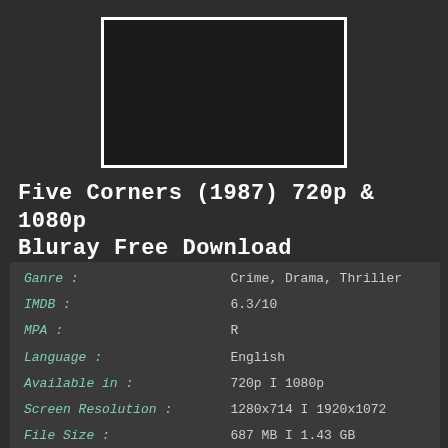[Figure (other): Movie thumbnail placeholder with white border frame on dark background]
Five Corners (1987) 720p & 1080p Bluray Free Download
| Field | Value |
| --- | --- |
| Ganre : | Crime, Drama, Thriller |
| IMDB : | 6.3/10 |
| MPA : | R |
| Language : | English |
| Available in : | 720p I 1080p |
| Screen Resolution : | 1280x714 I 1920x1072 |
| File Size : | 687 MB I 1.43 GB |
| Duration : | 1h 30min |
| Frame Rate : | 23.98 fps |